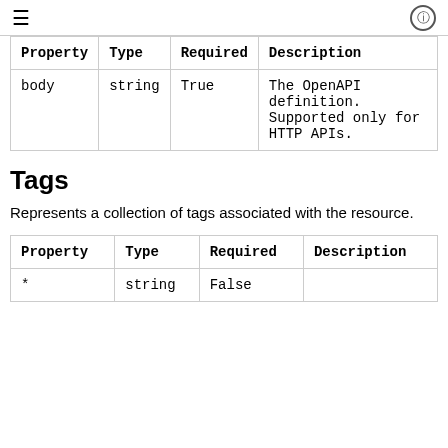≡   ⓘ
| Property | Type | Required | Description |
| --- | --- | --- | --- |
| body | string | True | The OpenAPI definition. Supported only for HTTP APIs. |
Tags
Represents a collection of tags associated with the resource.
| Property | Type | Required | Description |
| --- | --- | --- | --- |
| * | string | False |  |